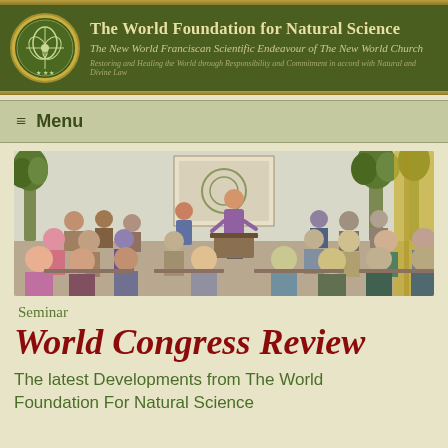The World Foundation for Natural Science
The New World Franciscan Scientific Endeavour of The New World Church
Restoring and Healing the World through Responsibility and Commitment in accord with Natural and Divine Law
Menu
[Figure (photo): Seminar room with audience seated facing a speaker standing at a podium, with plants and decorations in the background]
Seminar
World Congress Review
The latest Developments from The World Foundation For Natural Science